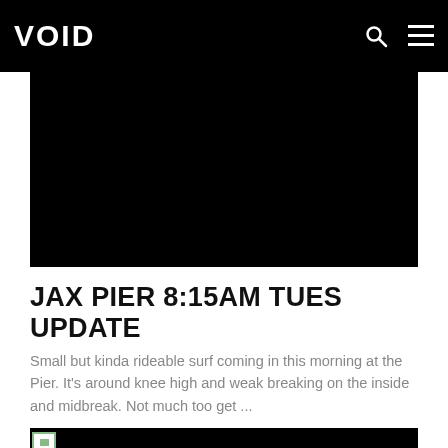VOID
[Figure (photo): Dark/black hero image area at top of article]
JAX PIER 8:15AM TUES UPDATE
Small but kinda rideable surf coming in this morning at the Pier. It's around knee high and weak breaking on the inside and midbreak. Not much too get ...
[Figure (photo): Second dark/black image partially visible at bottom of page]